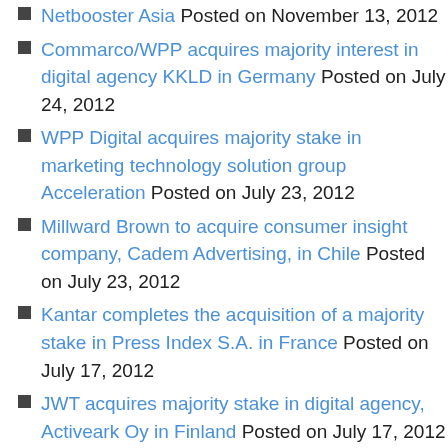Netbooster Asia Posted on November 13, 2012
Commarco/WPP acquires majority interest in digital agency KKLD in Germany Posted on July 24, 2012
WPP Digital acquires majority stake in marketing technology solution group Acceleration Posted on July 23, 2012
Millward Brown to acquire consumer insight company, Cadem Advertising, in Chile Posted on July 23, 2012
Kantar completes the acquisition of a majority stake in Press Index S.A. in France Posted on July 17, 2012
JWT acquires majority stake in digital agency, Activeark Oy in Finland Posted on July 17, 2012
Ogilvy & Mather acquires majority stake in Foster, a digital agency in Brazil Posted on July 17, 2012
Kantar to acquire a majority stake in Press Index S.A. in France Posted on July 6, 2012